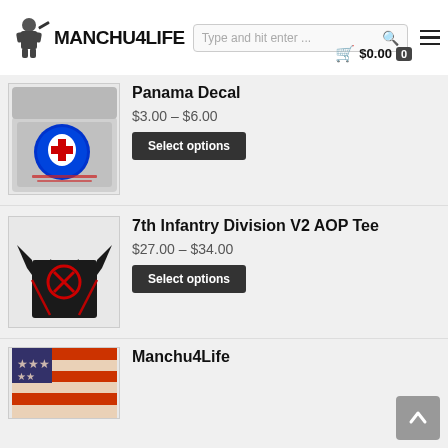MANCHU4LIFE — header with logo, search bar, cart ($0.00), hamburger menu
[Figure (screenshot): Panama Decal product image — circular blue sticker with map design on a laptop surface]
Panama Decal
$3.00 – $6.00
Select options
[Figure (screenshot): 7th Infantry Division V2 AOP Tee product image — black t-shirt with red logo]
7th Infantry Division V2 AOP Tee
$27.00 – $34.00
Select options
[Figure (screenshot): Manchu4Life product image — partial view of flag/banner item]
Manchu4Life